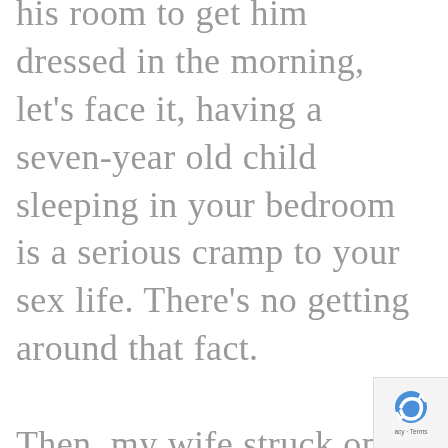his room to get him dressed in the morning, let's face it, having a seven-year old child sleeping in your bedroom is a serious cramp to your sex life. There's no getting around that fact.

Then, my wife struck on an idea. We've long known that my son likes enclosed spaces, constantly makings nests of pillows in the backs of closets, behind couches, and in cardboard boxes. What if, my wife reasoned, we could make his bed into an enclosed space. She went scouring the internet, and sure enough, there was already just such a product, something like a